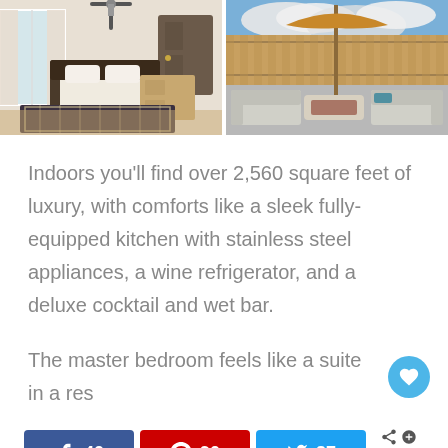[Figure (photo): Two side-by-side property photos: left shows a bedroom interior with fan, bed, and patterned rug; right shows an outdoor patio with umbrella, fire pit, and seating area]
Indoors you'll find over 2,560 square feet of luxury, with comforts like a sleek fully-equipped kitchen with stainless steel appliances, a wine refrigerator, and a deluxe cocktail and wet bar.
The master bedroom feels like a suite in a res...